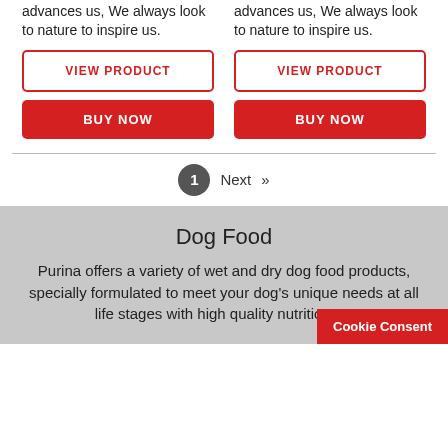advances us, We always look to nature to inspire us.
advances us, We always look to nature to inspire us.
VIEW PRODUCT
VIEW PRODUCT
BUY NOW
BUY NOW
1  Next  »
Dog Food
Purina offers a variety of wet and dry dog food products, specially formulated to meet your dog's unique needs at all life stages with high quality nutrition. W
Cookie Consent